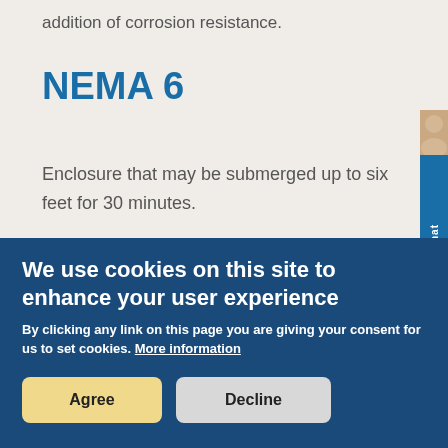addition of corrosion resistance.
NEMA 6
Enclosure that may be submerged up to six feet for 30 minutes.
We use cookies on this site to enhance your user experience
By clicking any link on this page you are giving your consent for us to set cookies. More information
Agree
Decline